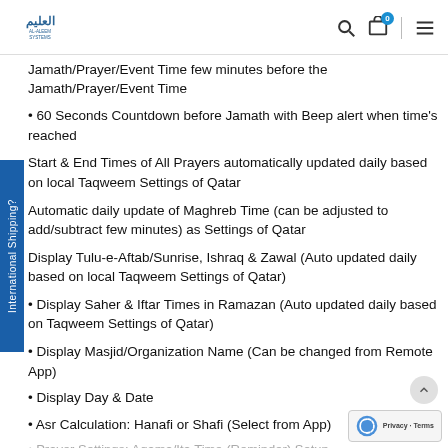Al-Aleem Systems logo with search, cart (0), and menu icons
Jamath/Prayer/Event Time few minutes before the Jamath/Prayer/Event Time
• 60 Seconds Countdown before Jamath with Beep alert when time's reached
Start & End Times of All Prayers automatically updated daily based on local Taqweem Settings of Qatar
Automatic daily update of Maghreb Time (can be adjusted to add/subtract few minutes) as Settings of Qatar
Display Tulu-e-Aftab/Sunrise, Ishraq & Zawal (Auto updated daily based on local Taqweem Settings of Qatar)
• Display Saher & Iftar Times in Ramazan (Auto updated daily based on Taqweem Settings of Qatar)
• Display Masjid/Organization Name (Can be changed from Remote App)
• Display Day & Date
• Asr Calculation: Hanafi or Shafi (Select from App)
Prayer Settings: Aqama/Ita Time (Reminder) Setup...